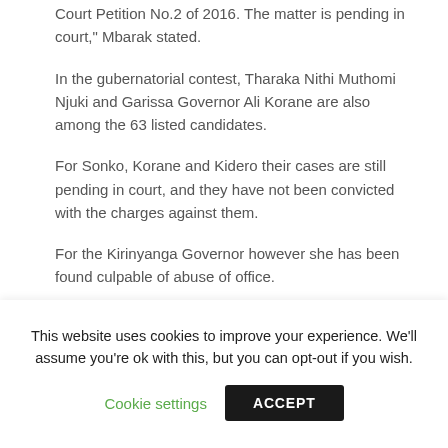Court Petition No.2 of 2016. The matter is pending in court," Mbarak stated.
In the gubernatorial contest, Tharaka Nithi Muthomi Njuki and Garissa Governor Ali Korane are also among the 63 listed candidates.
For Sonko, Korane and Kidero their cases are still pending in court, and they have not been convicted with the charges against them.
For the Kirinyanga Governor however she has been found culpable of abuse of office.
This website uses cookies to improve your experience. We'll assume you're ok with this, but you can opt-out if you wish.
Cookie settings
ACCEPT